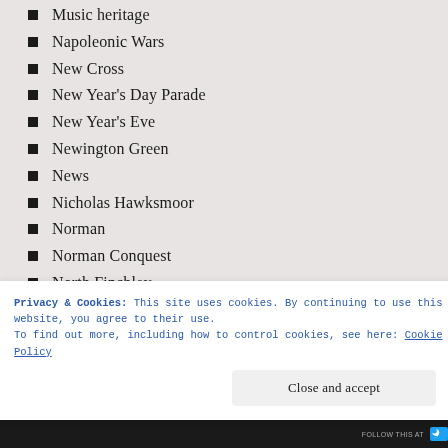Music heritage
Napoleonic Wars
New Cross
New Year's Day Parade
New Year's Eve
Newington Green
News
Nicholas Hawksmoor
Norman
Norman Conquest
North Finchley
North London
Notting Hill
Notting Hill Carnival
Oliver Cromwell
Privacy & Cookies: This site uses cookies. By continuing to use this website, you agree to their use. To find out more, including how to control cookies, see here: Cookie Policy